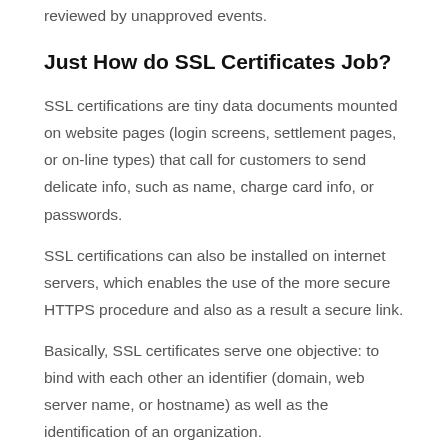reviewed by unapproved events.
Just How do SSL Certificates Job?
SSL certifications are tiny data documents mounted on website pages (login screens, settlement pages, or on-line types) that call for customers to send delicate info, such as name, charge card info, or passwords.
SSL certifications can also be installed on internet servers, which enables the use of the more secure HTTPS procedure and also as a result a secure link.
Basically, SSL certificates serve one objective: to bind with each other an identifier (domain, web server name, or hostname) as well as the identification of an organization.
The Bluehost knowledgebase states: “We do supply complimentary backups for our clients. They are developed on a